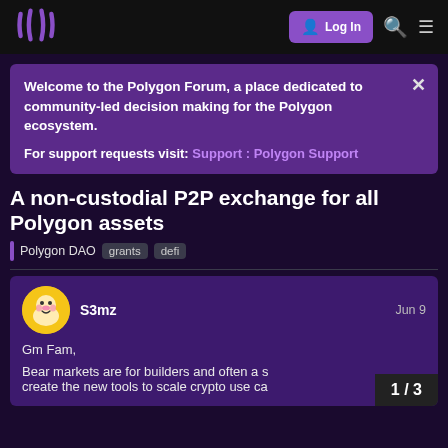Polygon Forum - Log In
Welcome to the Polygon Forum, a place dedicated to community-led decision making for the Polygon ecosystem.

For support requests visit: Support : Polygon Support
A non-custodial P2P exchange for all Polygon assets
Polygon DAO  grants  defi
S3mz  Jun 9

Gm Fam,

Bear markets are for builders and often a s... create the new tools to scale crypto use ca...
1 / 3